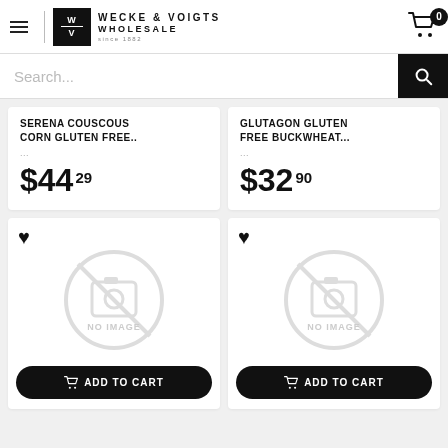Wecke & Voigts Wholesale since 1882
Search...
SERENA COUSCOUS CORN GLUTEN FREE.. $44.29
GLUTAGON GLUTEN FREE BUCKWHEAT... $32.90
[Figure (screenshot): Product card with no image placeholder and Add to Cart button - left]
[Figure (screenshot): Product card with no image placeholder and Add to Cart button - right]